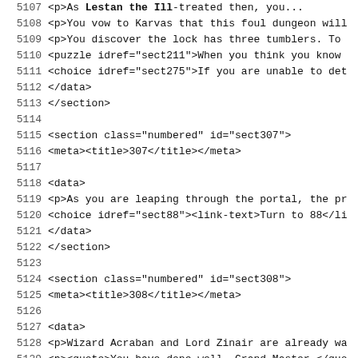Source code listing showing XML sections 5107-5139
5107    <p>As Lestan the Ill-treated then, you...
5108        <p>You vow to Karvas that this foul dungeon will
5109        <p>You discover the lock has three tumblers. To
5110        <puzzle idref="sect211">When you think you know
5111        <choice idref="sect275">If you are unable to det
5112      </data>
5113    </section>
5114
5115    <section class="numbered" id="sect307">
5116      <meta><title>307</title></meta>
5117
5118      <data>
5119        <p>As you are leaping through the portal, the pr
5120        <choice idref="sect88"><link-text>Turn to 88</li
5121      </data>
5122    </section>
5123
5124    <section class="numbered" id="sect308">
5125      <meta><title>308</title></meta>
5126
5127      <data>
5128        <p>Wizard Acraban and Lord Zinair are already wa
5129        <p><quote>You have done well, Grand Master,</quo
5130        <p>Acraban nods in agreement and passes word to
5131        <choice idref="sect187"><link-text>Turn to 187</
5132      </data>
5133    </section>
5134
5135    <section class="numbered" id="sect309">
5136      <meta><title>309</title></meta>
5137
5138      <data>
5139        <p>Quietly you recite the words of the Brotherh